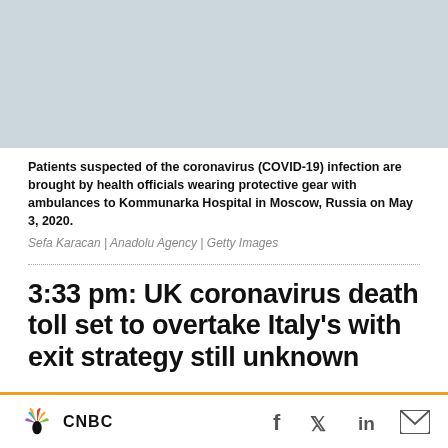[Figure (photo): Light blue/grey placeholder image representing a photo of patients being brought to Kommunarka Hospital in Moscow]
Patients suspected of the coronavirus (COVID-19) infection are brought by health officials wearing protective gear with ambulances to Kommunarka Hospital in Moscow, Russia on May 3, 2020.
Sefa Karacan | Anadolu Agency | Getty Images
3:33 pm: UK coronavirus death toll set to overtake Italy's with exit strategy still unknown
The U.K. government is coming under increasing
[Figure (logo): CNBC logo with peacock graphic and social media icons (Facebook, Twitter, LinkedIn, Email)]